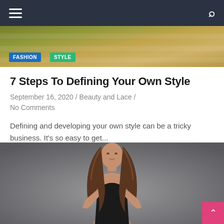Navigation bar with hamburger menu and search icon
[Figure (photo): Partial top image showing fabric/textile in warm golden-olive tones with FASHION and STYLE category tags overlaid]
7 Steps To Defining Your Own Style
September 16, 2020 / Beauty and Lace / No Comments
Defining and developing your own style can be a tricky business. It's so easy to get...
[Figure (photo): Woman with long wavy brown hair wearing a black bodysuit/swimsuit posing against a gray background, looking downward]